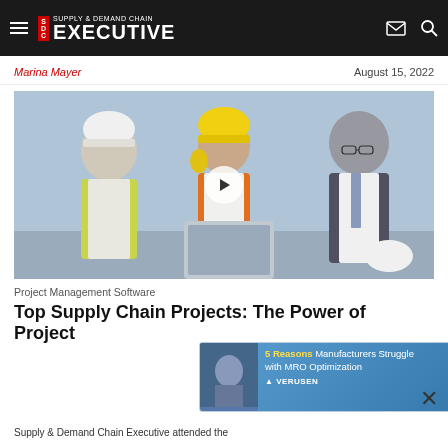Supply & Demand Chain Executive
Marina Mayer
August 15, 2022
[Figure (photo): Three construction/engineering professionals (two wearing hard hats and safety gear, one in a business suit) looking at a laptop together on a construction site. A video play button overlay is visible in the center of the image.]
Project Management Software
Top Supply Chain Projects: The Power of Project Management Software
[Figure (other): Advertisement banner: '5 Reasons Manufacturers Struggle with MRO Optimization' by Verusen, with a blue gradient background and a thumbnail image.]
Supply & Demand Chain Executive attended the...